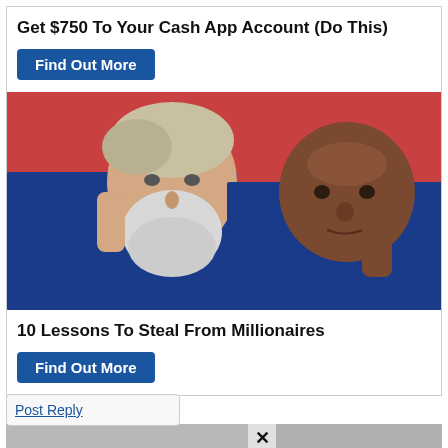Get $750 To Your Cash App Account (Do This)
Find Out More
[Figure (photo): Two older men in blue sweaters against a red background, both resting their chins/heads on their hands, looking at the camera.]
10 Lessons To Steal From Millionaires
Find Out More
SPONSORED
Post Reply